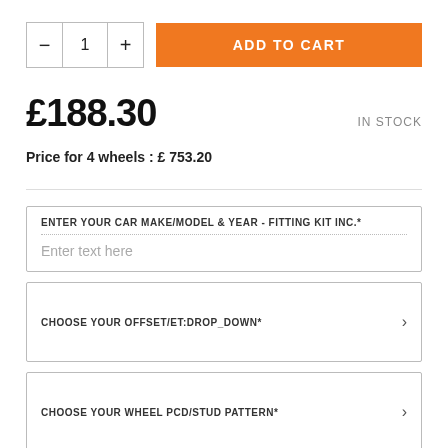— 1 + ADD TO CART
£188.30
IN STOCK
Price for 4 wheels : £ 753.20
ENTER YOUR CAR MAKE/MODEL & YEAR - FITTING KIT INC.*
Enter text here
CHOOSE YOUR OFFSET/ET:DROP_DOWN*
CHOOSE YOUR WHEEL PCD/STUD PATTERN*